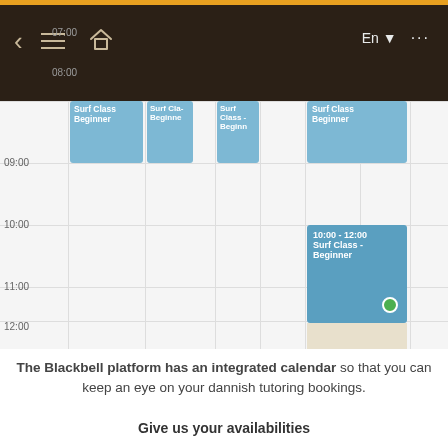[Figure (screenshot): Mobile app calendar screenshot showing a weekly schedule with Surf Class Beginner events in blue blocks at 08:00-09:00 and 10:00-12:00 time slots across multiple columns, with a dark navigation bar at top containing back arrow, menu, home icon, language selector (En), and more options. Time labels 07:00, 08:00, 09:00, 10:00, 11:00, 12:00 visible. A selected event shows '10:00 - 12:00 Surf Class - Beginner' with a green circle indicator.]
The Blackbell platform has an integrated calendar so that you can keep an eye on your dannish tutoring bookings.
Give us your availabilities
Let Blackbell know when your dannish tutoring services are available and it'll do the work for you - Simple rules made with a simple set-up.
Display real-time availabilities